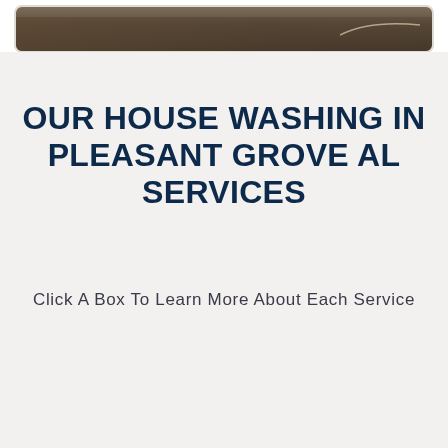[Figure (photo): Partial photo of outdoor pressure washing or landscaping scene, cropped at top of page with rounded border]
OUR HOUSE WASHING IN PLEASANT GROVE AL SERVICES
Click A Box To Learn More About Each Service